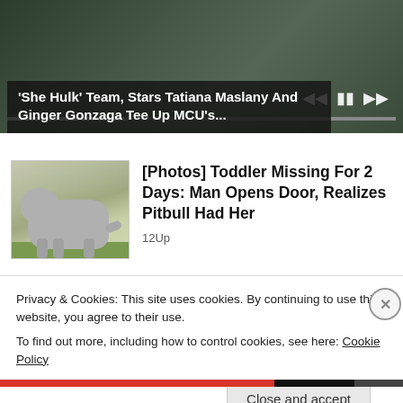[Figure (screenshot): Video player with dark background showing She-Hulk related content, with playback controls and progress bar. Title overlay reads: 'She Hulk' Team, Stars Tatiana Maslany And Ginger Gonzaga Tee Up MCU's...]
[Figure (photo): Photo of a pitbull dog standing on grass outdoors]
[Photos] Toddler Missing For 2 Days: Man Opens Door, Realizes Pitbull Had Her
12Up
Privacy & Cookies: This site uses cookies. By continuing to use this website, you agree to their use.
To find out more, including how to control cookies, see here: Cookie Policy
Close and accept